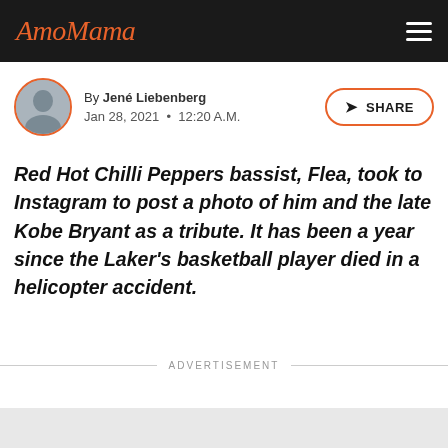AmoMama
By Jené Liebenberg
Jan 28, 2021 • 12:20 A.M.
Red Hot Chilli Peppers bassist, Flea, took to Instagram to post a photo of him and the late Kobe Bryant as a tribute. It has been a year since the Laker's basketball player died in a helicopter accident.
ADVERTISEMENT